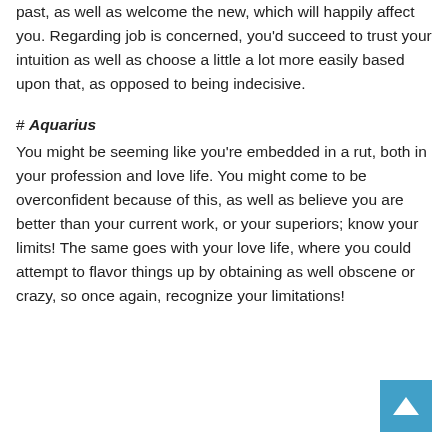past, as well as welcome the new, which will happily affect you. Regarding job is concerned, you'd succeed to trust your intuition as well as choose a little a lot more easily based upon that, as opposed to being indecisive.
# Aquarius
You might be seeming like you're embedded in a rut, both in your profession and love life. You might come to be overconfident because of this, as well as believe you are better than your current work, or your superiors; know your limits! The same goes with your love life, where you could attempt to flavor things up by obtaining as well obscene or crazy, so once again, recognize your limitations!